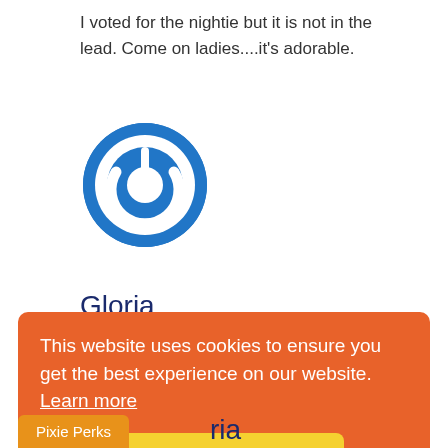I voted for the nightie but it is not in the lead. Come on ladies....it's adorable.
[Figure (logo): Blue circular power/user avatar icon]
Gloria
June 21, 2017
I love the shoex
This website uses cookies to ensure you get the best experience on our website.  Learn more
Got it!
Pixie Perks
ria